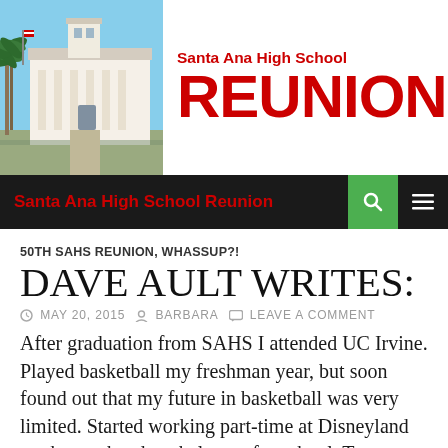[Figure (photo): Photo of Santa Ana High School building with palm trees and an American flag]
Santa Ana High School REUNION
Santa Ana High School Reunion
50TH SAHS REUNION, WHASSUP?!
DAVE AULT WRITES:
MAY 20, 2015  BARBARA  LEAVE A COMMENT
After graduation from SAHS I attended UC Irvine.  Played basketball my freshman year, but soon found out that my future in basketball was very limited.  Started working part-time at Disneyland on the weekends to help pay for school.  To my surprise, I was offered a management job in theme park operations and was part of the opening management team in